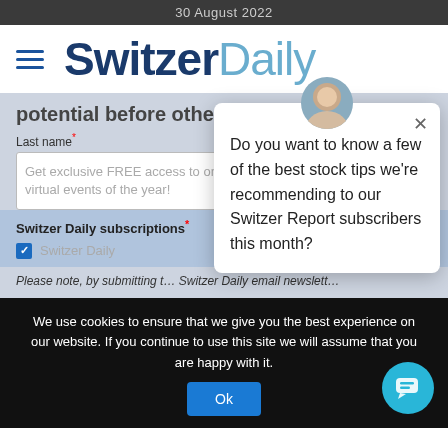30 August 2022
[Figure (logo): Switzer Daily logo with hamburger menu icon]
potential before other investors?
Last name*
Get exclusive FREE access to one of our most popular virtual events of the year!
Switzer Daily subscriptions*
Switzer Daily (checkbox checked)
Please note, by submitting t... Switzer Daily email newslett...
[Figure (screenshot): Popup chat bubble with avatar photo and text: Do you want to know a few of the best stock tips we're recommending to our Switzer Report subscribers this month? with close X button]
We use cookies to ensure that we give you the best experience on our website. If you continue to use this site we will assume that you are happy with it.
Ok